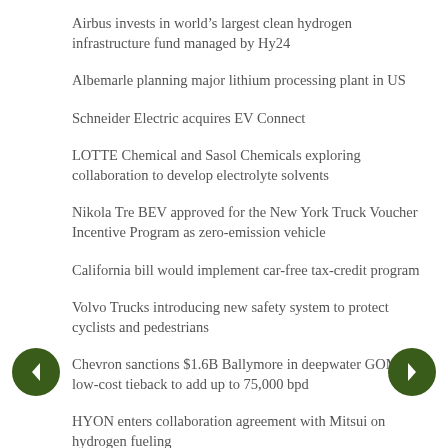Airbus invests in world’s largest clean hydrogen infrastructure fund managed by Hy24
Albemarle planning major lithium processing plant in US
Schneider Electric acquires EV Connect
LOTTE Chemical and Sasol Chemicals exploring collaboration to develop electrolyte solvents
Nikola Tre BEV approved for the New York Truck Voucher Incentive Program as zero-emission vehicle
California bill would implement car-free tax-credit program
Volvo Trucks introducing new safety system to protect cyclists and pedestrians
Chevron sanctions $1.6B Ballymore in deepwater GOM; low-cost tieback to add up to 75,000 bpd
HYON enters collaboration agreement with Mitsui on hydrogen fueling
Pacific Basin Shipping, Nihon Shipyard and Mitsui to